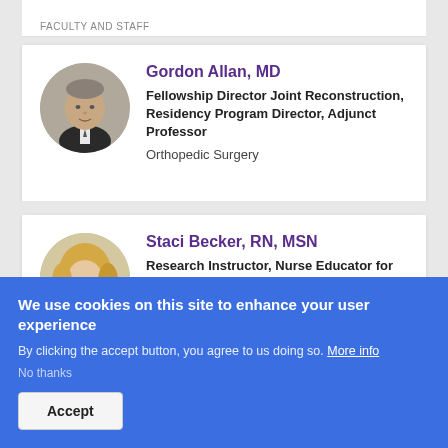FACULTY AND STAFF
[Figure (photo): Circular headshot photo of Gordon Allan, MD, a middle-aged man in a dark suit with a tie]
Gordon Allan, MD
Fellowship Director Joint Reconstruction, Residency Program Director, Adjunct Professor
Orthopedic Surgery
[Figure (photo): Circular headshot photo of Staci Becker, RN, MSN, a woman with blonde hair]
Staci Becker, RN, MSN
Research Instructor, Nurse Educator for
We use cookies on this site to enhance your user experience
By clicking the accept button, you agree to us doing so. More info
No thanks
Accept